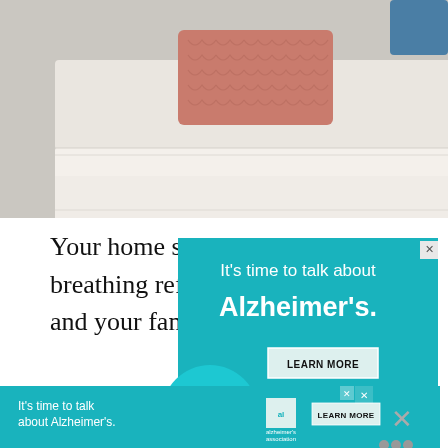[Figure (photo): Photo of a sofa or bed with a pink knitted cushion, light beige upholstery, cropped at top of page]
Your home should be a living, breathing reflection of what you and your family love the most.
[Figure (infographic): Advertisement banner: teal background with white text 'It's time to talk about Alzheimer's.' and a LEARN MORE button. Below it a smaller strip ad repeating the same content with Alzheimer's Association logo and close buttons.]